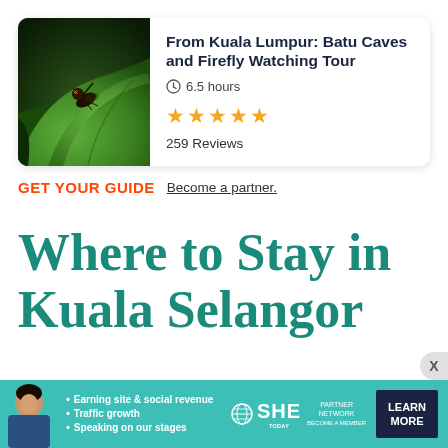[Figure (photo): Close-up photo of a firefly or insect on a green leaf with dark background, used as tour thumbnail]
From Kuala Lumpur: Batu Caves and Firefly Watching Tour
6.5 hours
★★★★★ 259 Reviews
GET YOUR GUIDE  Become a partner.
Where to Stay in Kuala Selangor
[Figure (infographic): SHE Partner Network advertisement banner with woman photo, bullet points: Earning site & social revenue, Traffic growth, Speaking on our stages. LEARN MORE button.]